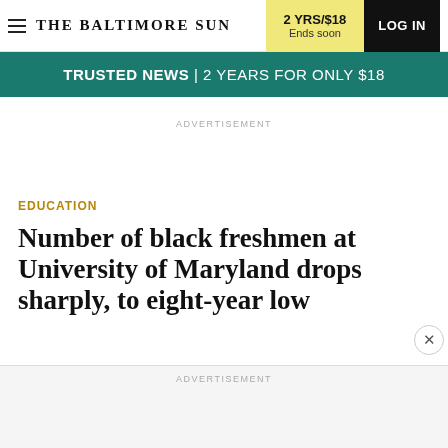THE BALTIMORE SUN | 2 YRS/$18 Ends soon | LOG IN
[Figure (screenshot): Teal promotional banner reading TRUSTED NEWS | 2 YEARS FOR ONLY $18]
ADVERTISEMENT
EDUCATION
Number of black freshmen at University of Maryland drops sharply, to eight-year low
ADVERTISEMENT